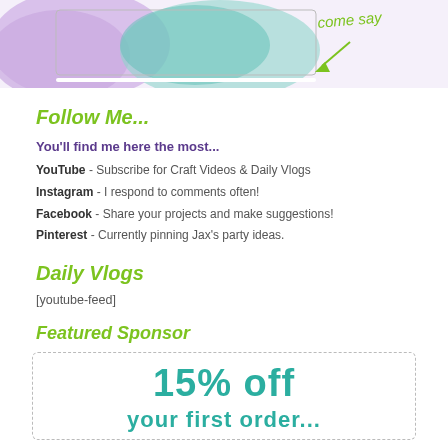[Figure (photo): Top portion of page showing a crafting/crochet themed photo with purple and mint hair/yarn and a handwritten arrow annotation saying 'come say']
Follow Me...
You'll find me here the most...
YouTube - Subscribe for Craft Videos & Daily Vlogs
Instagram - I respond to comments often!
Facebook - Share your projects and make suggestions!
Pinterest - Currently pinning Jax's party ideas.
Daily Vlogs
[youtube-feed]
Featured Sponsor
[Figure (infographic): Sponsor box with dashed border showing '15% off' in large teal text and partially visible subtext below]